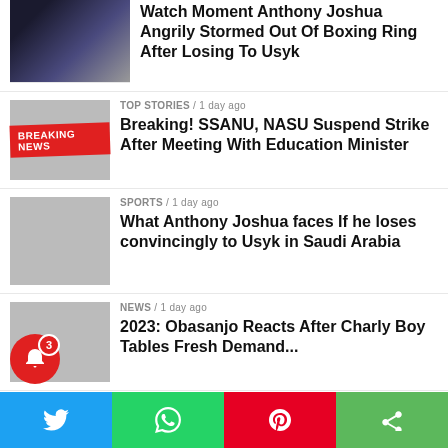Watch Moment Anthony Joshua Angrily Stormed Out Of Boxing Ring After Losing To Usyk
TOP STORIES / 1 day ago
Breaking! SSANU, NASU Suspend Strike After Meeting With Education Minister
SPORTS / 1 day ago
What Anthony Joshua faces If he loses convincingly to Usyk in Saudi Arabia
NEWS / 1 day ago
2023: Obasanjo Reacts After Charly Boy Tables Fresh Demand...
TOP STORIES / 1 day ago
Breaking: Osun: PDP Reacts After Hoodlums Attack First Lady
NEWS